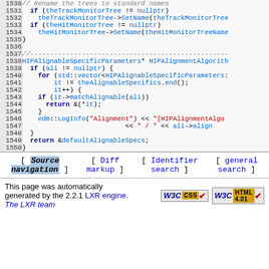[Figure (screenshot): Source code listing lines 1530-1550 showing C++ code for HIPAlignmentAlgorithm with syntax highlighting. Line numbers in gray left column, code in right column. Keywords in dark blue bold, identifiers in blue, strings in dark red, comments in gray italic.]
[ Source navigation ] [ Diff markup ] [ Identifier search ] [ general search ]
This page was automatically generated by the 2.2.1 LXR engine. The LXR team